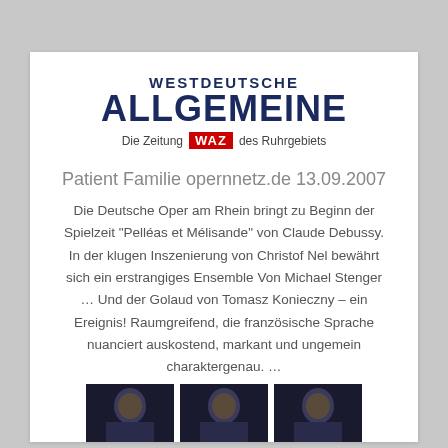WESTDEUTSCHE ALLGEMEINE – Die Zeitung WAZ des Ruhrgebiets
Patient Familie opernnetz.de 13.09.2007
Die Deutsche Oper am Rhein bringt zu Beginn der Spielzeit "Pelléas et Mélisande" von Claude Debussy. In der klugen Inszenierung von Christof Nel bewährt sich ein erstrangiges Ensemble Von Michael Stenger … Und der Golaud von Tomasz Konieczny – ein Ereignis! Raumgreifend, die französische Sprache nuanciert auskostend, markant und ungemein charaktergenau. …
[Figure (photo): Three portrait photos of performers, dark background, side by side at bottom of page]